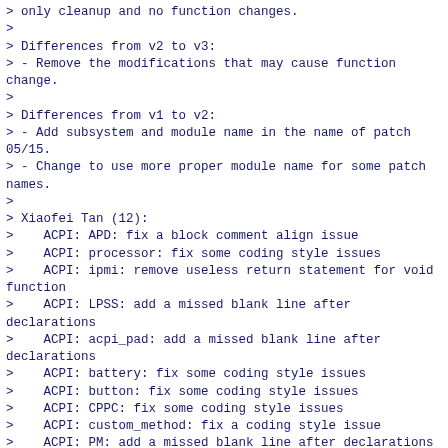> only cleanup and no function changes.
>
> Differences from v2 to v3:
> - Remove the modifications that may cause function change.
>
> Differences from v1 to v2:
> - Add subsystem and module name in the name of patch 05/15.
> - Change to use more proper module name for some patch names.
>
> Xiaofei Tan (12):
>    ACPI: APD: fix a block comment align issue
>    ACPI: processor: fix some coding style issues
>    ACPI: ipmi: remove useless return statement for void function
>    ACPI: LPSS: add a missed blank line after declarations
>    ACPI: acpi_pad: add a missed blank line after declarations
>    ACPI: battery: fix some coding style issues
>    ACPI: button: fix some coding style issues
>    ACPI: CPPC: fix some coding style issues
>    ACPI: custom_method: fix a coding style issue
>    ACPI: PM: add a missed blank line after declarations
>    ACPI: sysfs: fix some coding style issues
>    ACPI: dock: fix some coding style issues

All o...